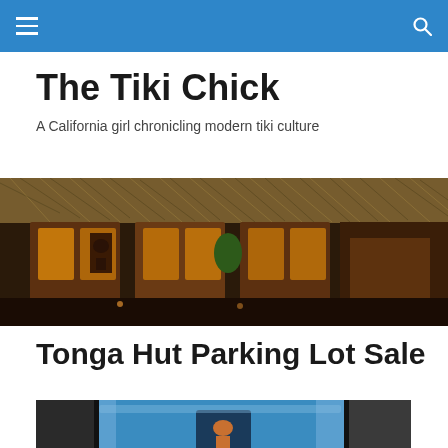The Tiki Chick
A California girl chronicling modern tiki culture
[Figure (photo): Interior of a tiki bar/restaurant with thatched roof huts, illuminated carved panels, bamboo walls, and patrons seated in a warm amber-lit dining area]
Tonga Hut Parking Lot Sale
[Figure (photo): Outdoor parking lot sale scene with framed artwork and tiki-related items displayed, bright blue sky visible in background]